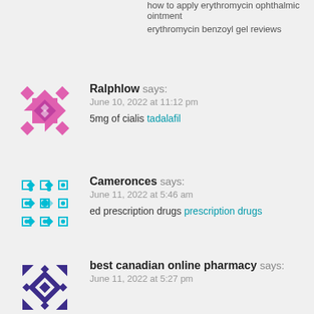how to apply erythromycin ophthalmic ointment erythromycin benzoyl gel reviews
[Figure (illustration): Pink mosaic/geometric avatar icon for user Ralphlow]
Ralphlow says:
June 10, 2022 at 11:12 pm
5mg of cialis tadalafil
[Figure (illustration): Teal/cyan mosaic/geometric avatar icon for user Cameronces]
Cameronces says:
June 11, 2022 at 5:46 am
ed prescription drugs prescription drugs
[Figure (illustration): Dark purple mosaic/geometric avatar icon for user best canadian online pharmacy]
best canadian online pharmacy says:
June 11, 2022 at 5:27 pm